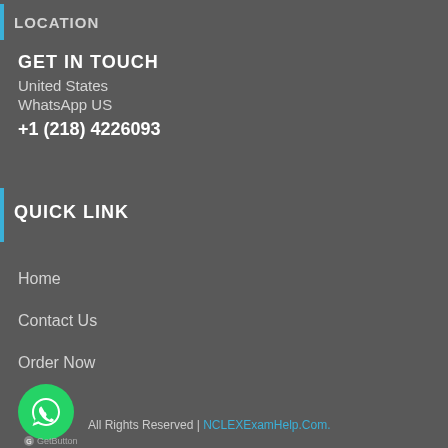LOCATION
GET IN TOUCH
United States
WhatsApp US
+1 (218) 4226093
QUICK LINK
Home
Contact Us
Order Now
All Rights Reserved | NCLEXExamHelp.Com.